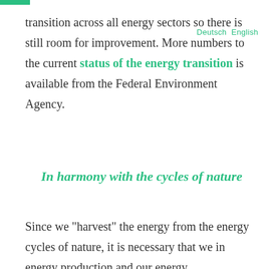transition across all energy sectors so there is still room for improvement. More numbers to the current status of the energy transition is available from the Federal Environment Agency.
In harmony with the cycles of nature
Since we "harvest" the energy from the energy cycles of nature, it is necessary that we in energy production and our energy